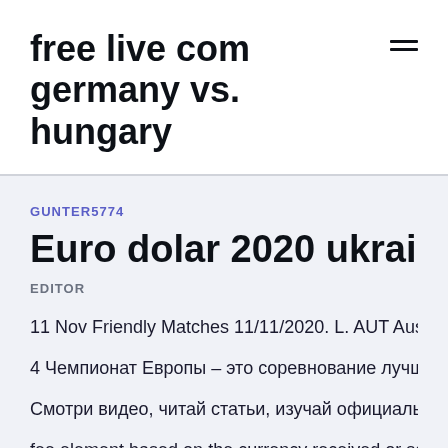free live com germany vs. hungary
GUNTER5774
Euro dolar 2020 ukraine vs. aus
EDITOR
11 Nov Friendly Matches 11/11/2020. L. AUT Austria.
4 Чемпионат Европы – это соревнование лучших сбор Смотри видео, читай статьи, изучай официальную стат fee element based on the currency received or set out in t